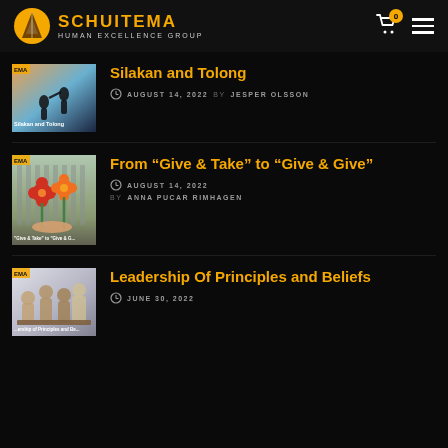SCHUITEMA HUMAN EXCELLENCE GROUP
Silakan and Tolong
AUGUST 14, 2022  BY  JESPER OLSSON
From “Give & Take” to “Give & Give”
AUGUST 14, 2022  BY  ANNA PUCAR RIMHAGEN
Leadership Of Principles and Beliefs
JUNE 30, 2022